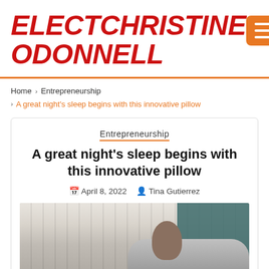ELECTCHRISTINE ODONNELL
Home › Entrepreneurship › A great night's sleep begins with this innovative pillow
Entrepreneurship
A great night's sleep begins with this innovative pillow
April 8, 2022  Tina Gutierrez
[Figure (photo): Person resting on a gray pillow against a teal/dark green panel background with white vertical curtain on the left side]